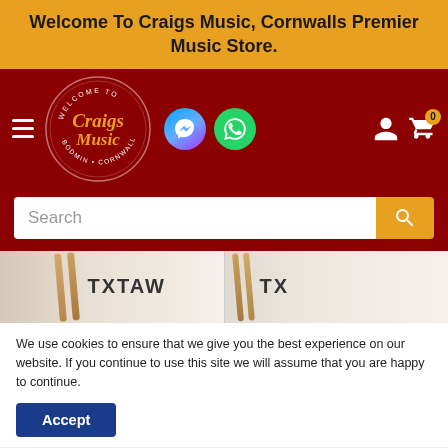Welcome To Craigs Music, Cornwalls Premier Music Store.
[Figure (logo): Craigs Music logo — circular badge with text 'WELCOME TO Craigs Music BODMIN · CORNWALL' on dark red background, with Facebook Messenger and WhatsApp icons, plus account and cart icons]
[Figure (screenshot): Search bar with placeholder text 'Search' and golden search button, on dark red background]
[Figure (photo): Product images — two drum sticks with text 'TXTAW' visible, partially cut off]
We use cookies to ensure that we give you the best experience on our website. If you continue to use this site we will assume that you are happy to continue.
Accept
Hickory 7A Wood Tip Drum Sticks
Drum Sticks